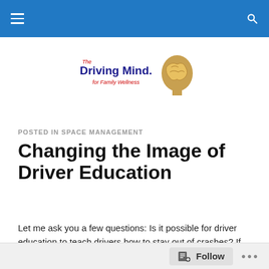Navigation bar with hamburger menu and search icon
[Figure (logo): The Driving Mind logo with brain graphic and text 'The Driving Mind for Family Wellness']
POSTED IN SPACE MANAGEMENT
Changing the Image of Driver Education
Let me ask you a few questions: Is it possible for driver education to teach drivers how to stay out of crashes? If so, what should the training consist of? As I wrote in my
Follow